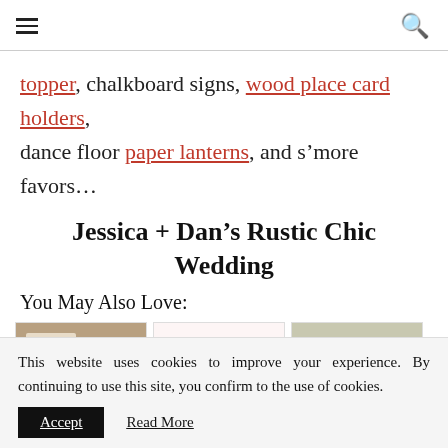Navigation header with hamburger menu and search icon
topper, chalkboard signs, wood place card holders, dance floor paper lanterns, and s’more favors…
Jessica + Dan’s Rustic Chic Wedding
You May Also Love:
[Figure (photo): Three thumbnail images side by side showing wedding banners and decorations]
This website uses cookies to improve your experience. By continuing to use this site, you confirm to the use of cookies.